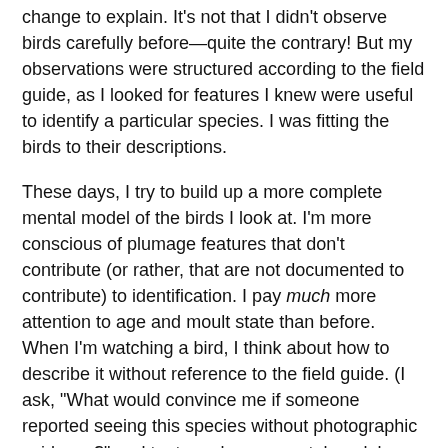change to explain. It's not that I didn't observe birds carefully before—quite the contrary! But my observations were structured according to the field guide, as I looked for features I knew were useful to identify a particular species. I was fitting the birds to their descriptions.
These days, I try to build up a more complete mental model of the birds I look at. I'm more conscious of plumage features that don't contribute (or rather, that are not documented to contribute) to identification. I pay much more attention to age and moult state than before. When I'm watching a bird, I think about how to describe it without reference to the field guide. (I ask, "What would convince me if someone reported seeing this species without photographic evidence?" and try to make my mental model answer that question.) Described this way, it sounds like a deliberate change, but it took me by surprise when I realised that I was doing it (which was quite recently, long after my Dayara trek).
These changes began with my trying to compensate for not...